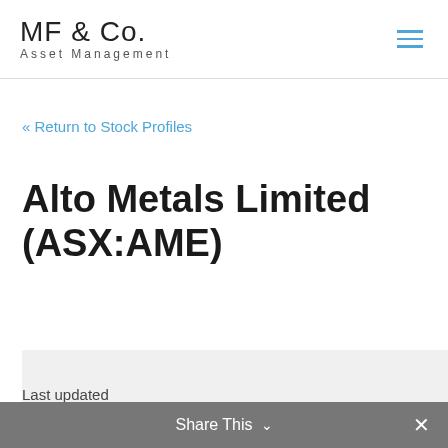MF & Co. Asset Management
« Return to Stock Profiles
Alto Metals Limited (ASX:AME)
Last updated
Share This ✕